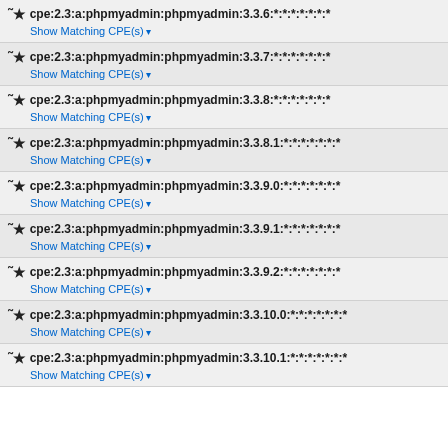cpe:2.3:a:phpmyadmin:phpmyadmin:3.3.6:*:*:*:*:*:*:*
cpe:2.3:a:phpmyadmin:phpmyadmin:3.3.7:*:*:*:*:*:*:*
cpe:2.3:a:phpmyadmin:phpmyadmin:3.3.8:*:*:*:*:*:*:*
cpe:2.3:a:phpmyadmin:phpmyadmin:3.3.8.1:*:*:*:*:*:*:*
cpe:2.3:a:phpmyadmin:phpmyadmin:3.3.9.0:*:*:*:*:*:*:*
cpe:2.3:a:phpmyadmin:phpmyadmin:3.3.9.1:*:*:*:*:*:*:*
cpe:2.3:a:phpmyadmin:phpmyadmin:3.3.9.2:*:*:*:*:*:*:*
cpe:2.3:a:phpmyadmin:phpmyadmin:3.3.10.0:*:*:*:*:*:*:*
cpe:2.3:a:phpmyadmin:phpmyadmin:3.3.10.1:*:*:*:*:*:*:*